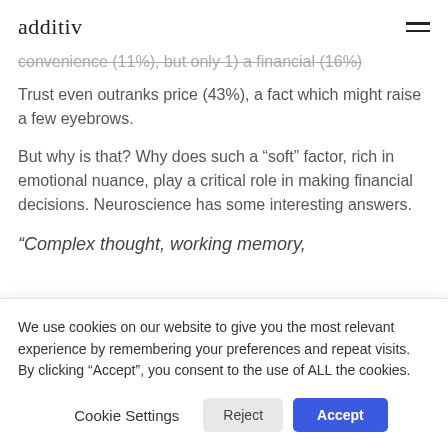additiv
convenience (11%), but only 1) a financial (16%). Trust even outranks price (43%), a fact which might raise a few eyebrows.
But why is that? Why does such a “soft” factor, rich in emotional nuance, play a critical role in making financial decisions. Neuroscience has some interesting answers.
“Complex thought, working memory,
We use cookies on our website to give you the most relevant experience by remembering your preferences and repeat visits. By clicking “Accept”, you consent to the use of ALL the cookies.